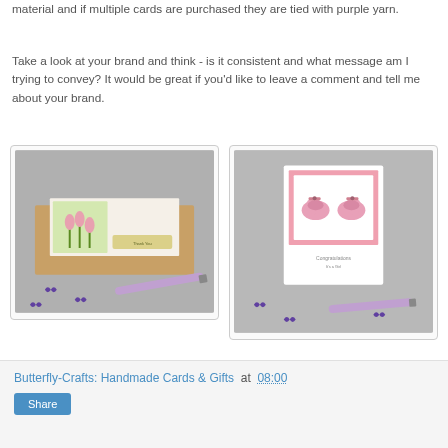material and if multiple cards are purchased they are tied with purple yarn.
Take a look at your brand and think - is it consistent and what message am I trying to convey? It would be great if you'd like to leave a comment and tell me about your brand.
[Figure (photo): Photo of a handmade greeting card with tulip flowers on a grey surface with a purple pen and purple butterfly confetti]
[Figure (photo): Photo of a handmade greeting card with pink baby shoes on a grey surface with a purple pen and purple butterfly confetti]
Butterfly-Crafts: Handmade Cards & Gifts at 08:00
Share